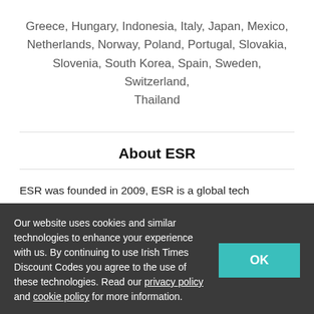Greece, Hungary, Indonesia, Italy, Japan, Mexico, Netherlands, Norway, Poland, Portugal, Slovakia, Slovenia, South Korea, Spain, Sweden, Switzerland, Thailand
About ESR
ESR was founded in 2009, ESR is a global tech company combining R&D, design, and production to create products that Tech Made Easier.
ESR creates simple, efficient, and tech-enhanced products and services that give people a better experience with technology in everyday life.
Here at Irish Times Discount Codes, we like to save you money wherever we can. So let's take you through and...
Our website uses cookies and similar technologies to enhance your experience with us. By continuing to use Irish Times Discount Codes you agree to the use of these technologies. Read our privacy policy and cookie policy for more information.